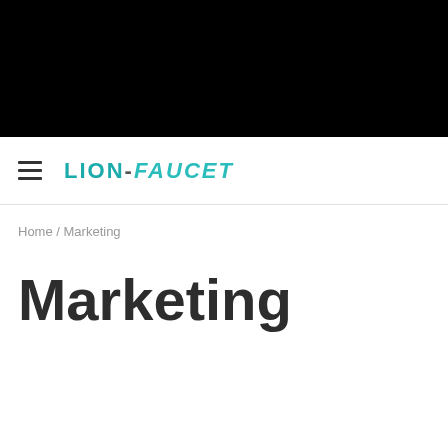LION-FAUCET
Home / Marketing
Marketing